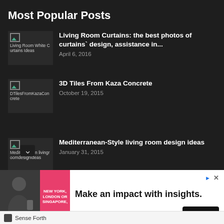Most Popular Posts
Living Room Curtains: the best photos of curtains` design, assistance in... April 6, 2016
3D Tiles From Kaza Concrete October 19, 2015
Mediterranean-Style living room design ideas January 31, 2015
[Figure (screenshot): Advertisement banner: Make an impact with insights. Open button. Sense Forth advertiser.]